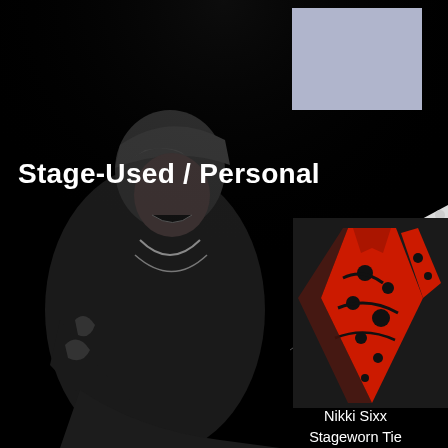Stage-Used / Personal
[Figure (photo): Black and white photo of rock musician (Nikki Sixx) wearing bandana, leather vest and necklaces, holding bass guitar with white headstock visible at right edge]
[Figure (photo): Light lavender/blue rectangle in upper center area of page]
[Figure (photo): Red patterned necktie with dark spots/pattern, Nikki Sixx stageworn tie from 2008]
Nikki Sixx
Stageworn Tie
2008
[Figure (photo): Dark grey/black guitar strap laid flat on grey surface, James Michael Guitar Strap from 2008]
James Michael
Guitar Strap
2008